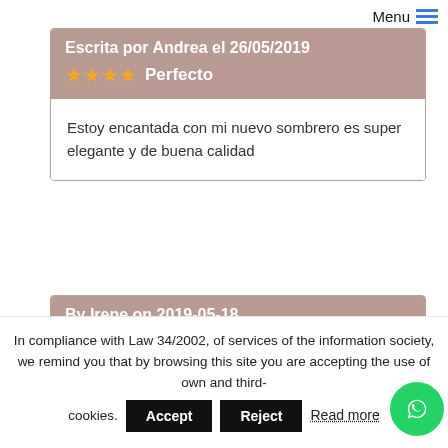Menu
Escrita por Andrea el 26/05/2019
★★★★ Perfecto
Estoy encantada con mi nuevo sombrero es super elegante y de buena calidad
By Irene on 2019-05-18
★★★★★ Great hat and great customer service
In compliance with Law 34/2002, of services of the information society, we remind you that by browsing this site you are accepting the use of own and third- cookies.
Accept
Reject
Read more